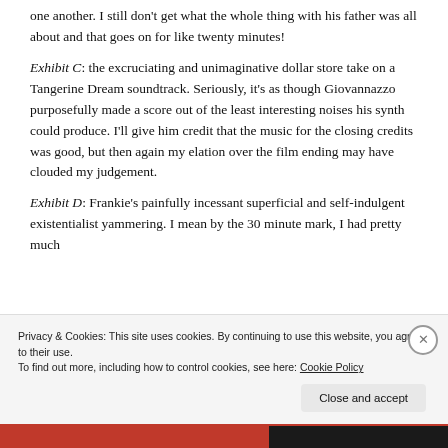one another. I still don't get what the whole thing with his father was all about and that goes on for like twenty minutes!
Exhibit C: the excruciating and unimaginative dollar store take on a Tangerine Dream soundtrack. Seriously, it's as though Giovannazzo purposefully made a score out of the least interesting noises his synth could produce. I'll give him credit that the music for the closing credits was good, but then again my elation over the film ending may have clouded my judgement.
Exhibit D: Frankie's painfully incessant superficial and self-indulgent existentialist yammering. I mean by the 30 minute mark, I had pretty much
Privacy & Cookies: This site uses cookies. By continuing to use this website, you agree to their use.
To find out more, including how to control cookies, see here: Cookie Policy
Close and accept